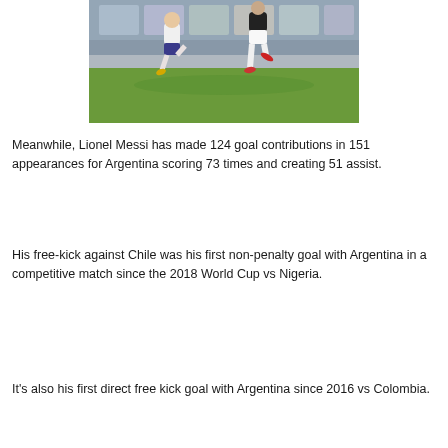[Figure (photo): Action photo of soccer/football players mid-air during a match, one player in white kit with gold boots, another in dark kit with red boots, green pitch visible at bottom]
Meanwhile, Lionel Messi has made 124 goal contributions in 151 appearances for Argentina scoring 73 times and creating 51 assist.
His free-kick against Chile was his first non-penalty goal with Argentina in a competitive match since the 2018 World Cup vs Nigeria.
It's also his first direct free kick goal with Argentina since 2016 vs Colombia.